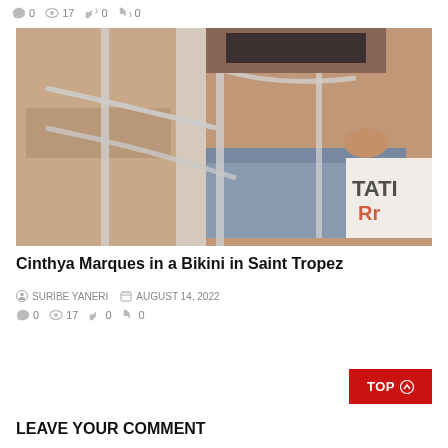0  17  0  0
[Figure (photo): Close-up photo of a woman in a bikini top and denim shorts on a yacht, with metal railings visible and partial text 'TATI R' on the side of the boat.]
Cinthya Marques in a Bikini in Saint Tropez
SURIBE YANERI  AUGUST 14, 2022
0  17  0  0
LEAVE YOUR COMMENT